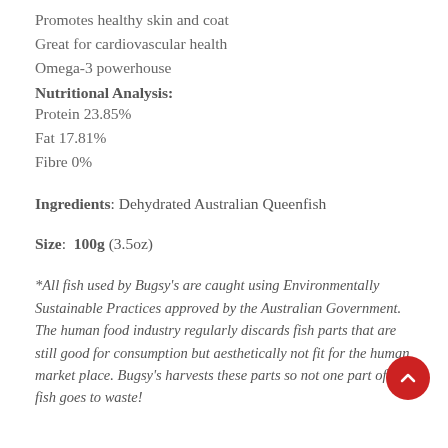Promotes healthy skin and coat
Great for cardiovascular health
Omega-3 powerhouse
Nutritional Analysis:
Protein 23.85%
Fat 17.81%
Fibre 0%
Ingredients: Dehydrated Australian Queenfish
Size:  100g (3.5oz)
*All fish used by Bugsy's are caught using Environmentally Sustainable Practices approved by the Australian Government.  The human food industry regularly discards fish parts that are still good for consumption but aesthetically not fit for the human market place. Bugsy's harvests these parts so not one part of that fish goes to waste!